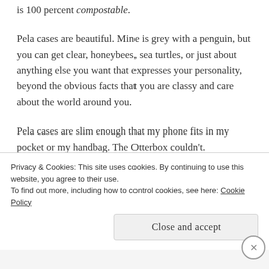is 100 percent compostable.
Pela cases are beautiful. Mine is grey with a penguin, but you can get clear, honeybees, sea turtles, or just about anything else you want that expresses your personality, beyond the obvious facts that you are classy and care about the world around you.
Pela cases are slim enough that my phone fits in my pocket or my handbag. The Otterbox couldn't.
Pela is creating the the future I want to live in. By
Privacy & Cookies: This site uses cookies. By continuing to use this website, you agree to their use.
To find out more, including how to control cookies, see here: Cookie Policy
Close and accept